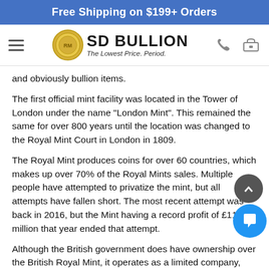Free Shipping on $199+ Orders
[Figure (logo): SD Bullion logo with coin image and tagline 'The Lowest Price. Period.']
and obviously bullion items.
The first official mint facility was located in the Tower of London under the name "London Mint". This remained the same for over 800 years until the location was changed to the Royal Mint Court in London in 1809.
The Royal Mint produces coins for over 60 countries, which makes up over 70% of the Royal Mints sales. Multiple people have attempted to privatize the mint, but all attempts have fallen short. The most recent attempt was back in 2016, but the Mint having a record profit of £11 million that year ended that attempt.
Although the British government does have ownership over the British Royal Mint, it operates as a limited company, under the name "Royal Mint Ltd." and are the exclusive producers of all British coinage. The location of the Royal Mint has moved multiple times, and today it resides in Wales. On the site is